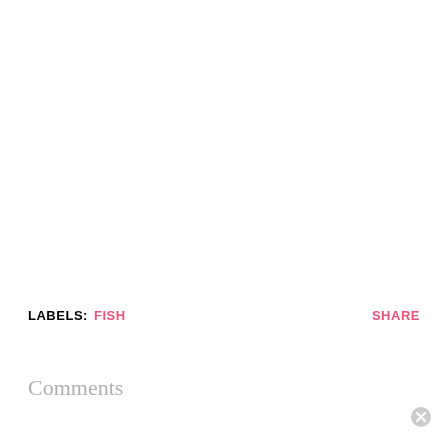LABELS: FISH    SHARE
Comments